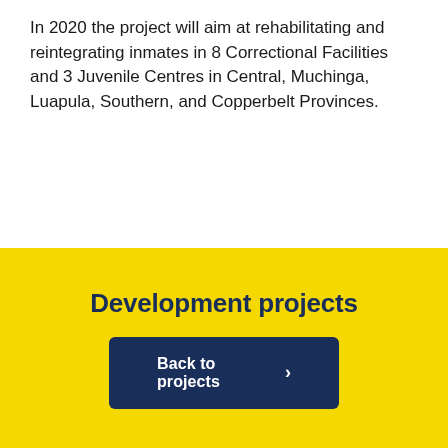In 2020 the project will aim at rehabilitating and reintegrating inmates in 8 Correctional Facilities and 3 Juvenile Centres in Central, Muchinga, Luapula, Southern, and Copperbelt Provinces.
Development projects
Back to projects ›